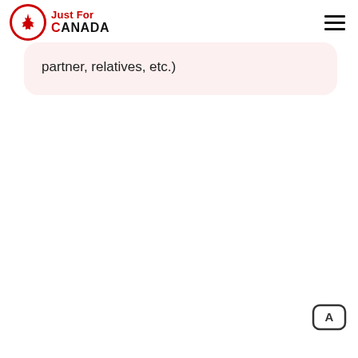Just For CANADA
partner, relatives, etc.)